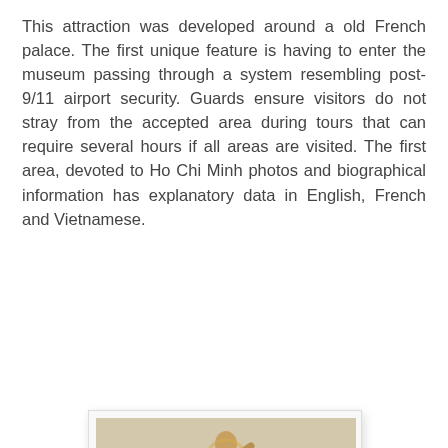This attraction was developed around a old French palace. The first unique feature is having to enter the museum passing through a system resembling post-9/11 airport security. Guards ensure visitors do not stray from the accepted area during tours that can require several hours if all areas are visited. The first area, devoted to Ho Chi Minh photos and biographical information has explanatory data in English, French and Vietnamese.
[Figure (photo): Two people (a man in a dark suit and a woman in light clothing) standing in front of a large bronze statue of Ho Chi Minh with decorative rock formations and potted plants on either side, inside a museum hall.]